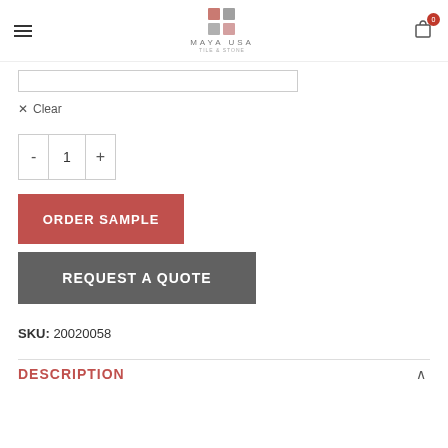MAYA USA
Clear
- 1 +
ORDER SAMPLE
REQUEST A QUOTE
SKU: 20020058
DESCRIPTION